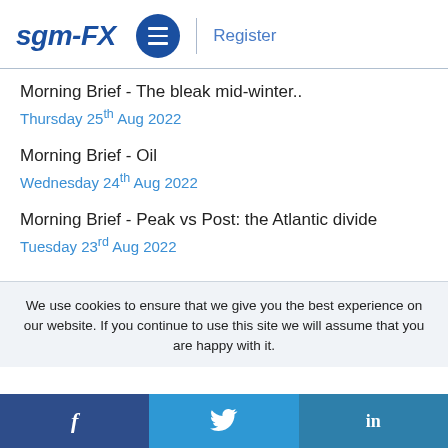sgm-FX  ≡  Register
Morning Brief - The bleak mid-winter..
Thursday 25th Aug 2022
Morning Brief - Oil
Wednesday 24th Aug 2022
Morning Brief - Peak vs Post: the Atlantic divide
Tuesday 23rd Aug 2022
We use cookies to ensure that we give you the best experience on our website. If you continue to use this site we will assume that you are happy with it.
f  𝕏  in